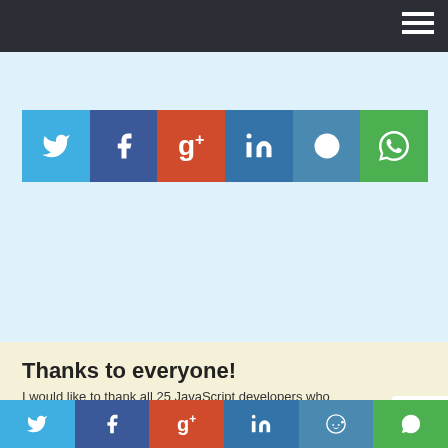[Figure (screenshot): Dark navigation bar at the top with hamburger menu icon on the right]
[Figure (infographic): Social share button bar with Twitter, Facebook, Google+, LinkedIn, Reddit, WhatsApp icons on light blue background]
Thanks to everyone!
I would like to thank all 25 JavaScript developers who contributed to this roundup, I couldn't have done this roundup without you!
[Figure (infographic): Social share button bar at bottom with Twitter, Facebook, Google+, LinkedIn, Reddit, WhatsApp icons]